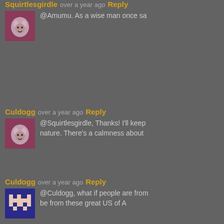Squirtlesgirdle over a year ago Reply
@Amumu. As a wise man once sa
Culdogg over a year ago Reply
@Squirtlesgirdle, Thanks! I'll keep nature. There's a calmness about
Culdogg over a year ago Reply
@Culdogg, what if people are from be from these great US of A
fetus meatus over a year ago Reply
@Culdogg, false, I assume everyt
Chief Poundserhard over a year ago Reply
@Culdogg, but...but...freedom*so